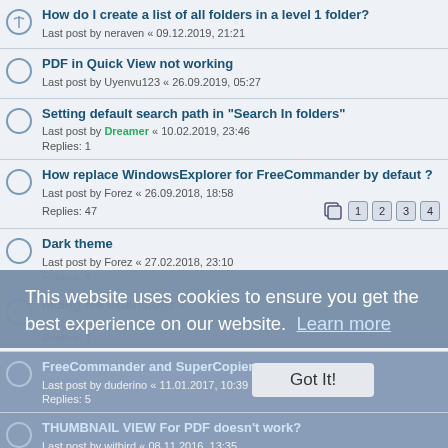How do I create a list of all folders in a level 1 folder?
Last post by neraven « 09.12.2019, 21:21
PDF in Quick View not working
Last post by Uyenvu123 « 26.09.2019, 05:27
Setting default search path in "Search In folders"
Last post by Dreamer « 10.02.2019, 23:46
Replies: 1
How replace WindowsExplorer for FreeCommander by defaut ?
Last post by Forez « 26.09.2018, 18:58
Replies: 47
Dark theme
Last post by Forez « 27.02.2018, 23:10
Replies: 4
hiding file extensions ?
Last post by horst.epp « 14.02.2018, 18:21
Replies: 4
FreeCommander and SuperCopier
Last post by duderino « 11.01.2017, 10:39
Replies: 5
THUMBNAIL VIEW For PDF doesn't work?
Last post by witbird « 08.11.2016, 13:35
Replies: 13
compare (sync) two flat folders
Last post by NumberOne « 03.09.2016, 14:40
Summary or note
Last post by joby_toss « 27.06.2016, 13:53
Replies: 1
This website uses cookies to ensure you get the best experience on our website. Learn more
Got It!